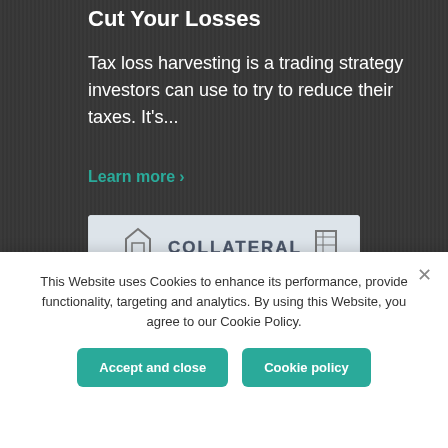Cut Your Losses
Tax loss harvesting is a trading strategy investors can use to try to reduce their taxes. It's...
Learn more >
[Figure (illustration): Partial card or article image showing 'COLLATERAL' text with house and building icons on a light background]
This Website uses Cookies to enhance its performance, provide functionality, targeting and analytics. By using this Website, you agree to our Cookie Policy.